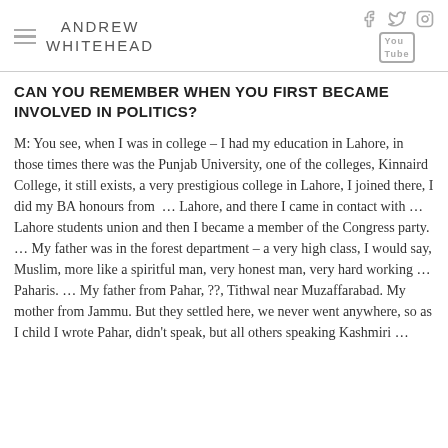ANDREW WHITEHEAD
CAN YOU REMEMBER WHEN YOU FIRST BECAME INVOLVED IN POLITICS?
M: You see, when I was in college – I had my education in Lahore, in those times there was the Punjab University, one of the colleges, Kinnaird College, it still exists, a very prestigious college in Lahore, I joined there, I did my BA honours from  … Lahore, and there I came in contact with … Lahore students union and then I became a member of the Congress party. … My father was in the forest department – a very high class, I would say, Muslim, more like a spiritful man, very honest man, very hard working … Paharis. … My father from Pahar, ??, Tithwal near Muzaffarabad. My mother from Jammu. But they settled here, we never went anywhere, so as I child I wrote Pahar, didn't speak, but all others speaking Kashmiri …